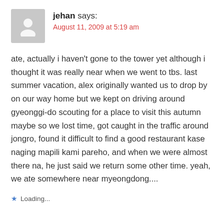[Figure (illustration): Gray avatar placeholder icon showing a silhouette of a person]
jehan says:
August 11, 2009 at 5:19 am
ate, actually i haven't gone to the tower yet although i thought it was really near when we went to tbs. last summer vacation, alex originally wanted us to drop by on our way home but we kept on driving around gyeonggi-do scouting for a place to visit this autumn maybe so we lost time, got caught in the traffic around jongro, found it difficult to find a good restaurant kase naging mapili kami pareho, and when we were almost there na, he just said we return some other time. yeah, we ate somewhere near myeongdong....
Loading...